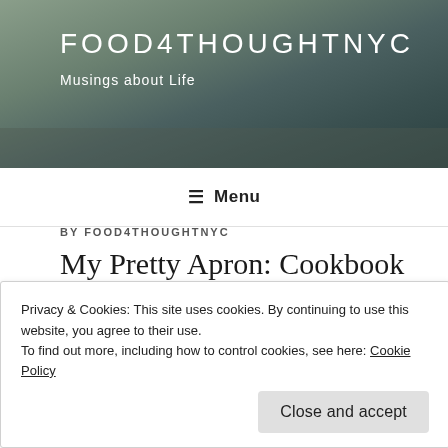[Figure (photo): Header photo showing plants and dark ceramic pots on a wooden surface with green foliage]
FOOD4THOUGHTNYC
Musings about Life
≡ Menu
BY FOOD4THOUGHTNYC
My Pretty Apron: Cookbook to the Rescue
Last week's cooking marathon for Thanksgiving really tested
Privacy & Cookies: This site uses cookies. By continuing to use this website, you agree to their use.
To find out more, including how to control cookies, see here: Cookie Policy
Close and accept